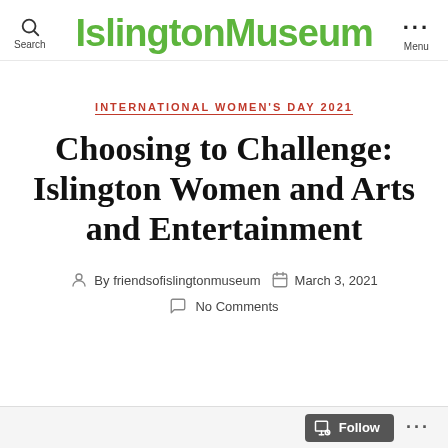IslingtonMuseum — Search / Menu
INTERNATIONAL WOMEN'S DAY 2021
Choosing to Challenge: Islington Women and Arts and Entertainment
By friendsofislingtonmuseum   March 3, 2021
No Comments
Follow ...